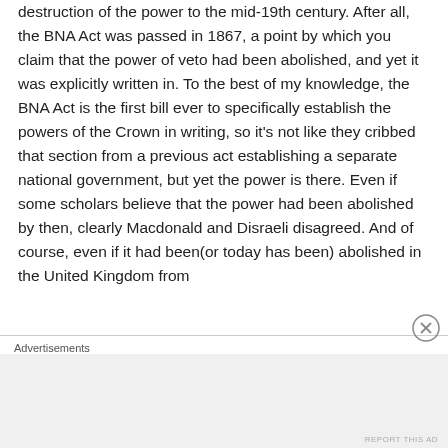destruction of the power to the mid-19th century. After all, the BNA Act was passed in 1867, a point by which you claim that the power of veto had been abolished, and yet it was explicitly written in. To the best of my knowledge, the BNA Act is the first bill ever to specifically establish the powers of the Crown in writing, so it's not like they cribbed that section from a previous act establishing a separate national government, but yet the power is there. Even if some scholars believe that the power had been abolished by then, clearly Macdonald and Disraeli disagreed. And of course, even if it had been(or today has been) abolished in the United Kingdom from
Advertisements